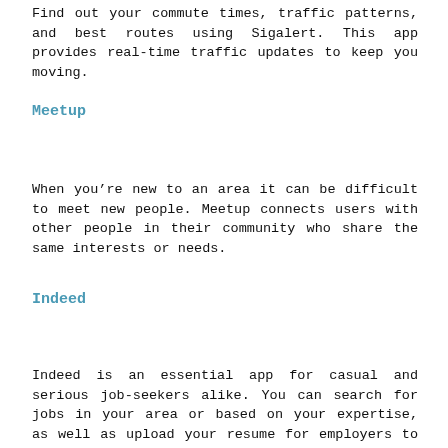Find out your commute times, traffic patterns, and best routes using Sigalert. This app provides real-time traffic updates to keep you moving.
Meetup
When you’re new to an area it can be difficult to meet new people. Meetup connects users with other people in their community who share the same interests or needs.
Indeed
Indeed is an essential app for casual and serious job-seekers alike. You can search for jobs in your area or based on your expertise, as well as upload your resume for employers to see.